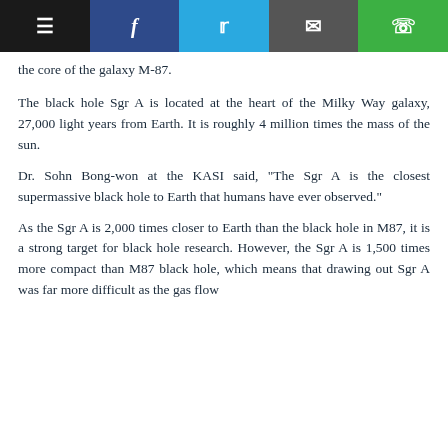[toolbar: menu, facebook, twitter, email, whatsapp]
the core of the galaxy M-87.
The black hole Sgr A is located at the heart of the Milky Way galaxy, 27,000 light years from Earth. It is roughly 4 million times the mass of the sun.
Dr. Sohn Bong-won at the KASI said, "The Sgr A is the closest supermassive black hole to Earth that humans have ever observed."
As the Sgr A is 2,000 times closer to Earth than the black hole in M87, it is a strong target for black hole research. However, the Sgr A is 1,500 times more compact than M87 black hole, which means that drawing out Sgr A was far more difficult as the gas flow